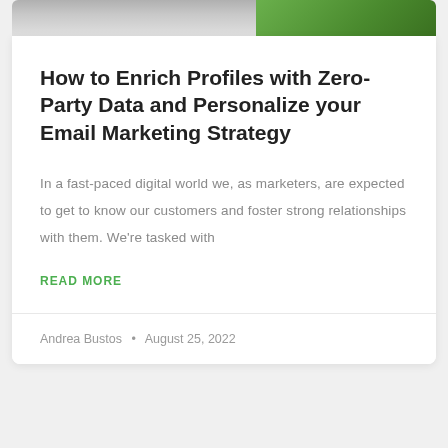[Figure (photo): Partial header image with gray and green gradient background at top of card]
How to Enrich Profiles with Zero-Party Data and Personalize your Email Marketing Strategy
In a fast-paced digital world we, as marketers, are expected to get to know our customers and foster strong relationships with them. We’re tasked with
READ MORE
Andrea Bustos  •  August 25, 2022